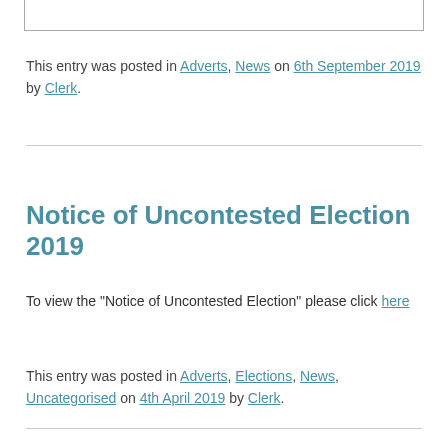This entry was posted in Adverts, News on 6th September 2019 by Clerk.
Notice of Uncontested Election 2019
To view the “Notice of Uncontested Election” please click here
This entry was posted in Adverts, Elections, News, Uncategorised on 4th April 2019 by Clerk.